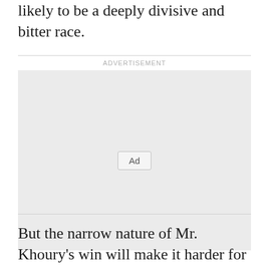likely to be a deeply divisive and bitter race.
[Figure (other): Advertisement placeholder box with 'Ad' button label]
But the narrow nature of Mr. Khoury’s win will make it harder for Mr. Aoun to claim broad support from the Christian community.